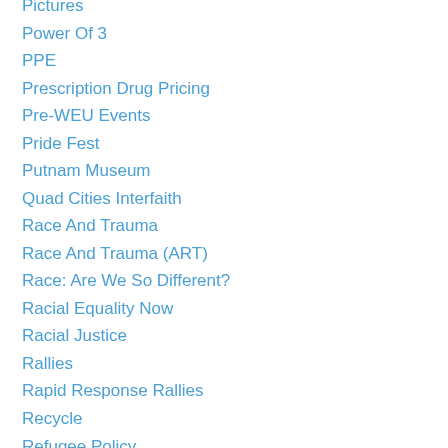Pictures
Power Of 3
PPE
Prescription Drug Pricing
Pre-WEU Events
Pride Fest
Putnam Museum
Quad Cities Interfaith
Race And Trauma
Race And Trauma (ART)
Race: Are We So Different?
Racial Equality Now
Racial Justice
Rallies
Rapid Response Rallies
Recycle
Refugee Policy
Renewable Energy
Repurpose
Resist
Resistance School